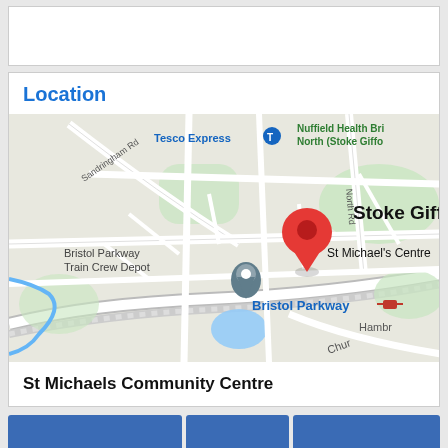Location
[Figure (map): Google Maps view of Stoke Gifford area showing St Michaels Community Centre location pin, with labels for Tesco Express, Nuffield Health Bristol North (Stoke Gifford), Bristol Parkway Train Crew Depot, Bristol Parkway station, and Sandringham Rd]
St Michaels Community Centre
← Music with Mummy
All Events
Beavers →